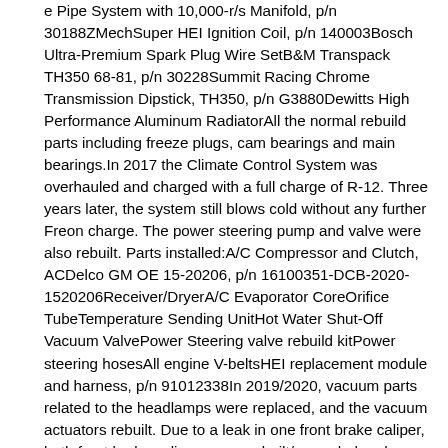e Pipe System with 10,000-r/s Manifold, p/n 30188ZMechSuper HEI Ignition Coil, p/n 140003Bosch Ultra-Premium Spark Plug Wire SetB&M Transpack TH350 68-81, p/n 30228Summit Racing Chrome Transmission Dipstick, TH350, p/n G3880Dewitts High Performance Aluminum RadiatorAll the normal rebuild parts including freeze plugs, cam bearings and main bearings.In 2017 the Climate Control System was overhauled and charged with a full charge of R-12. Three years later, the system still blows cold without any further Freon charge. The power steering pump and valve were also rebuilt. Parts installed:A/C Compressor and Clutch, ACDelco GM OE 15-20206, p/n 16100351-DCB-2020-1520206Receiver/DryerA/C Evaporator CoreOrifice TubeTemperature Sending UnitHot Water Shut-Off Vacuum ValvePower Steering valve rebuild kitPower steering hosesAll engine V-beltsHEI replacement module and harness, p/n 91012338In 2019/2020, vacuum parts related to the headlamps were replaced, and the vacuum actuators rebuilt. Due to a leak in one front brake caliper, both front brake calipers were rebuilt/upgraded and loaded with new pads. The OE style caliper pistons have a tendency to leak on vehicles that are not driven very much, and the upgrade done includes new caliper pistons that use o-rings (DOT5 and higher fluid must not be used). Parts replaced include:Headlight Vacuum Actuator Rebuild Kit